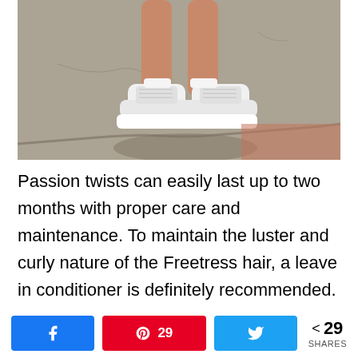[Figure (photo): Overhead/top-down photo of a person's legs and feet wearing white chunky sneakers, standing on a concrete surface with shadows visible.]
Passion twists can easily last up to two months with proper care and maintenance. To maintain the luster and curly nature of the Freetress hair, a leave in conditioner is definitely recommended. Washing of the hair with as minimal manipulation as possible
[Figure (infographic): Social share bar with Facebook button, Pinterest button showing 29 shares, Twitter button, and a share count of 29 SHARES.]